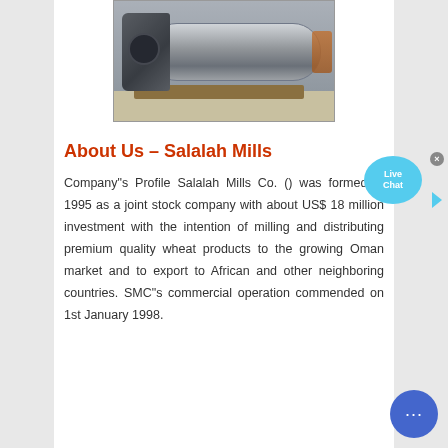[Figure (photo): Industrial ball mill or cylindrical grinding machine in a factory/warehouse setting, showing a large gray metal cylinder with end cap, resting on a wooden pallet on a concrete floor.]
About Us – Salalah Mills
Company"s Profile Salalah Mills Co. () was formed in 1995 as a joint stock company with about US$ 18 million investment with the intention of milling and distributing premium quality wheat products to the growing Oman market and to export to African and other neighboring countries. SMC"s commercial operation commended on 1st January 1998.
[Figure (other): Live Chat speech bubble widget in light blue with 'Live Chat' text and a close X button]